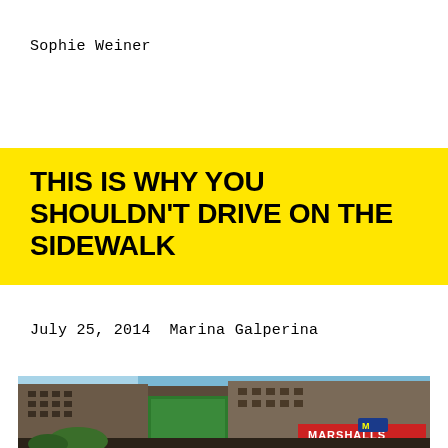Sophie Weiner
THIS IS WHY YOU SHOULDN'T DRIVE ON THE SIDEWALK
July 25, 2014 Marina Galperina
[Figure (photo): Street-level photo of an urban intersection with multi-story brick buildings, green construction scaffolding, commercial signs including Marshalls, blue sky visible at top left]